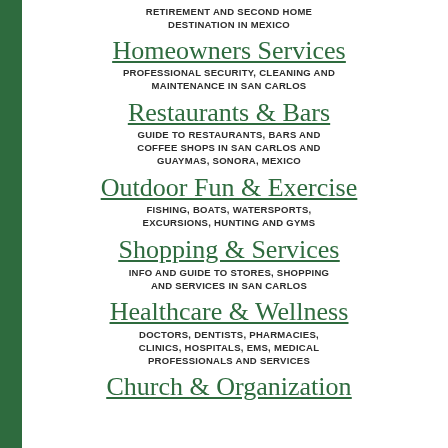RETIREMENT AND SECOND HOME DESTINATION IN MEXICO
Homeowners Services
PROFESSIONAL SECURITY, CLEANING AND MAINTENANCE IN SAN CARLOS
Restaurants & Bars
GUIDE TO RESTAURANTS, BARS AND COFFEE SHOPS IN SAN CARLOS AND GUAYMAS, SONORA, MEXICO
Outdoor Fun & Exercise
FISHING, BOATS, WATERSPORTS, EXCURSIONS, HUNTING AND GYMS
Shopping & Services
INFO AND GUIDE TO STORES, SHOPPING AND SERVICES IN SAN CARLOS
Healthcare & Wellness
DOCTORS, DENTISTS, PHARMACIES, CLINICS, HOSPITALS, EMS, MEDICAL PROFESSIONALS AND SERVICES
Church & Organization